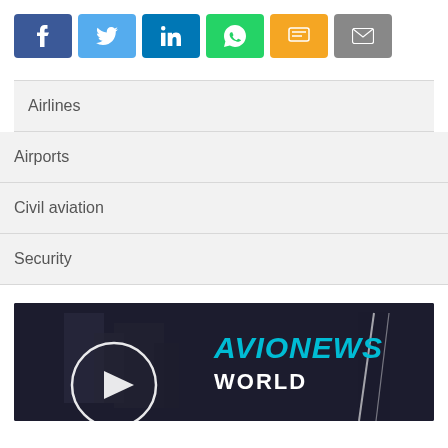[Figure (infographic): Social share buttons row: Facebook (dark blue), Twitter (light blue), LinkedIn (teal), WhatsApp (green), SMS (yellow/orange), Email (grey)]
Airlines
Airports
Civil aviation
Security
[Figure (screenshot): AVIONEWS WORLD promotional banner image with dark background, circular play button icon on the left, and AVIONEWS text in cyan and WORLD text in white on the right]